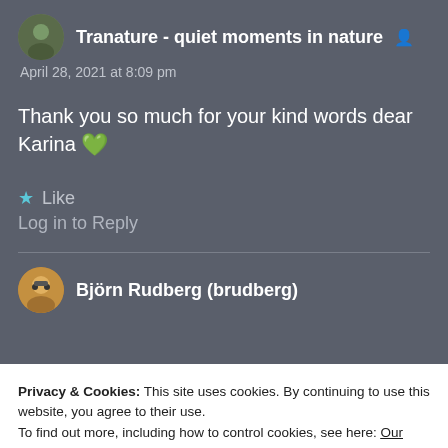Tranature - quiet moments in nature
April 28, 2021 at 8:09 pm
Thank you so much for your kind words dear Karina 💚
★ Like
Log in to Reply
Björn Rudberg (brudberg)
Privacy & Cookies: This site uses cookies. By continuing to use this website, you agree to their use.
To find out more, including how to control cookies, see here: Our Cookie Policy
Close and accept
Liked by 1 person